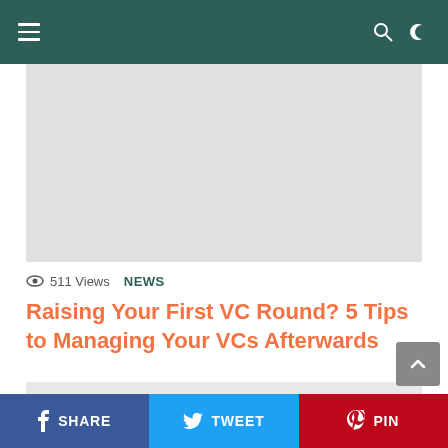Navigation bar with hamburger menu, search and theme toggle
[Figure (photo): Hero image placeholder — light gray rectangle]
511 Views  NEWS
Raising Your First VC Round? 5 Tips to Managing Your VCs Afterwards
[Figure (photo): Secondary image placeholder — light gray rectangle]
SHARE  TWEET  PIN